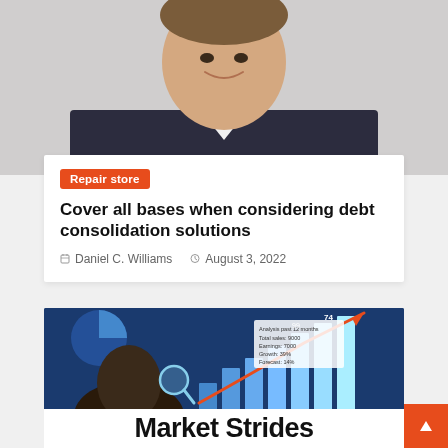[Figure (photo): Cropped portrait photo of a smiling man in a dark suit and white shirt, shown from roughly the chin to chest level.]
Repair store
Cover all bases when considering debt consolidation solutions
Daniel C. Williams   August 3, 2022
[Figure (photo): A person (viewed from behind/side) holding a magnifying glass up to a screen displaying bar charts with an upward red arrow trend line, and a data summary box reading: Analysis past 12 months, Total sales: 9000, Earnings: 7000, Growth: 39%, Forecast: 14%.]
Market Strides